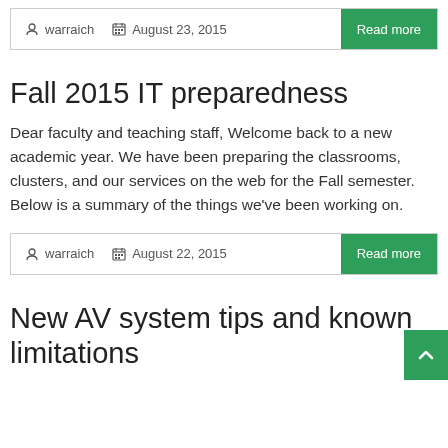warraich   August 23, 2015   Read more
Fall 2015 IT preparedness
Dear faculty and teaching staff, Welcome back to a new academic year. We have been preparing the classrooms, clusters, and our services on the web for the Fall semester. Below is a summary of the things we've been working on.
warraich   August 22, 2015   Read more
New AV system tips and known limitations